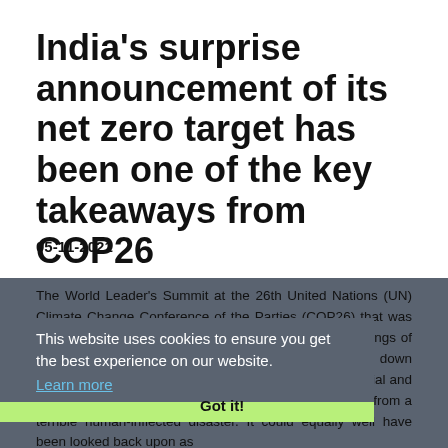India's surprise announcement of its net zero target has been one of the key takeaways from COP26
05-11-2021
The World Leader's Summit at the 26th United Nations (UN) Climate Change Conference of the Parties (COP26) that was held in Glasgow on 1 and 2 November had all the makings of an initiative that when looked back upon several years down the line would be seen as an event that took all the crucial and correct decisions that were imperative to save mankind from a terrible human-inflected disaster. It could equally well have been looked back upon as
This website uses cookies to ensure you get the best experience on our website. Learn more
Got it!